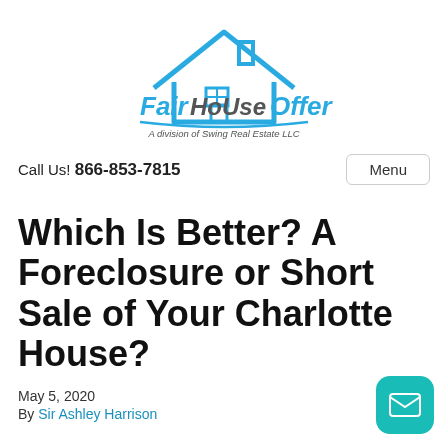[Figure (logo): Fair House Offer logo — a blue house icon above stylized text reading 'Fair House Offer' with subtitle 'A division of Swing Real Estate LLC']
Call Us! 866-853-7815   Menu
Which Is Better? A Foreclosure or Short Sale of Your Charlotte House?
May 5, 2020
By Sir Ashley Harrison